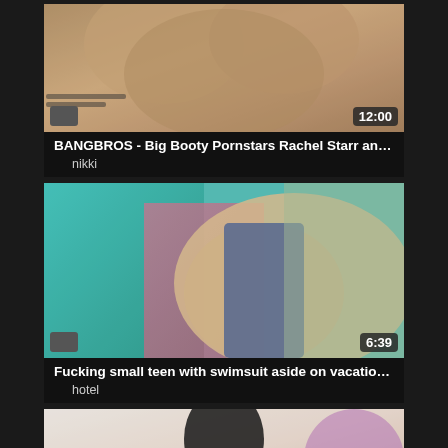[Figure (photo): Video thumbnail showing adult content with duration badge 12:00]
BANGBROS - Big Booty Pornstars Rachel Starr and Ni...
nikki
[Figure (photo): Video thumbnail showing adult content with duration badge 6:39]
Fucking small teen with swimsuit aside on vacation at t...
hotel
[Figure (photo): Video thumbnail showing adult content, partial view]